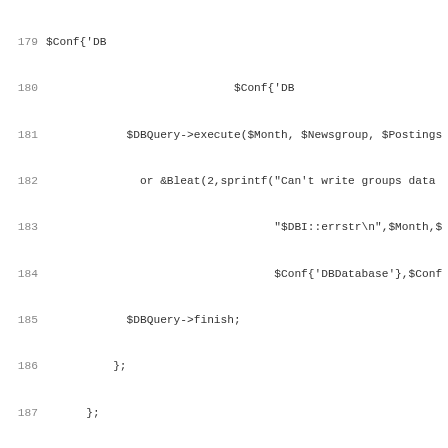Code listing lines 179-211 showing Perl source code and POD documentation
179: $Conf{'DB
180:                     $Conf{'DB
181:             $DBQuery->execute($Month, $Newsgroup, $Postings
182:               or &Bleat(2,sprintf("Can't write groups data
183:                                   "$DBI::errstr\n",$Month,$
184:                                   $Conf{'DBDatabase'},$Conf
185:             $DBQuery->finish;
186:           };
187:       };
188:   } else {
189:     # other types of information go here - later on
190:   };
191: };
192: 
193: ### close handles
194: $DBHandle->disconnect;
195: 
196: __END__
197: 
198: ################################## Documentation ########
199: 
200: =head1 NAME
201: 
202: gatherstats - process statistical data from a raw sourc
203: 
204: =head1 SYNOPSIS
205: 
206: B<gatherstats> [B<-Vhdt>] [B<-m> I<YYYY-MM> | I<YYYY-MM
207: 
208: =head1 REQUIREMENTS
209: 
210: See L<doc/README>.
211: